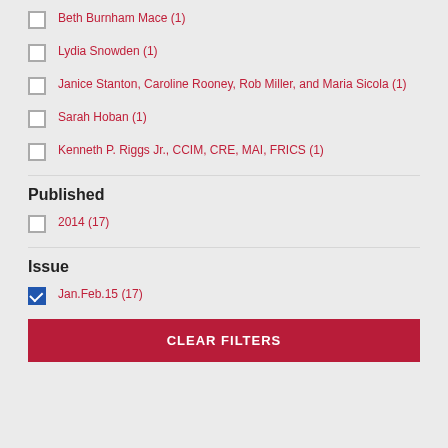Beth Burnham Mace (1)
Lydia Snowden (1)
Janice Stanton, Caroline Rooney, Rob Miller, and Maria Sicola (1)
Sarah Hoban (1)
Kenneth P. Riggs Jr., CCIM, CRE, MAI, FRICS (1)
Published
2014 (17)
Issue
Jan.Feb.15 (17)
CLEAR FILTERS